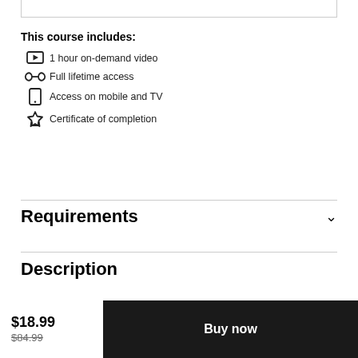This course includes:
1 hour on-demand video
Full lifetime access
Access on mobile and TV
Certificate of completion
Requirements
Description
$18.99
$84.99
Buy now